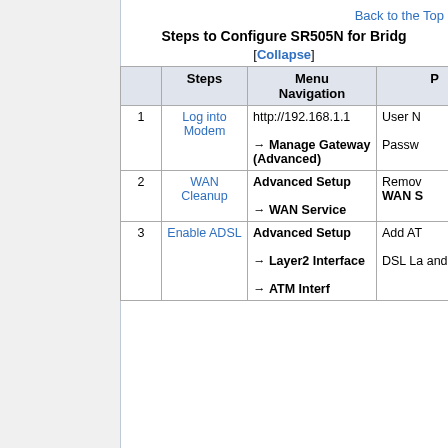Back to the Top
Steps to Configure SR505N for Bridge [Collapse]
|  | Steps | Menu Navigation | P |
| --- | --- | --- | --- |
| 1 | Log into Modem | http://192.168.1.1 → Manage Gateway (Advanced) | User N Passw |
| 2 | WAN Cleanup | Advanced Setup → WAN Service | Remov WAN S |
| 3 | Enable ADSL | Advanced Setup → Layer2 Interface → ATM Interf | Add AT DSL La and IN |